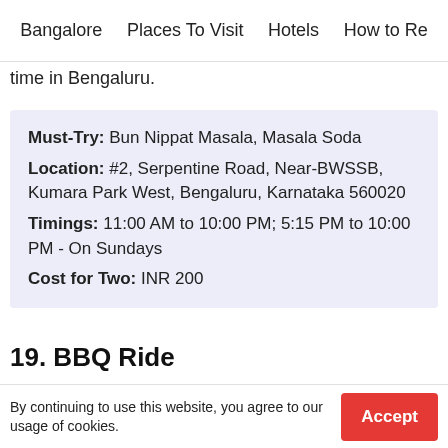Bangalore   Places To Visit   Hotels   How to Re
time in Bengaluru.
Must-Try: Bun Nippat Masala, Masala Soda
Location: #2, Serpentine Road, Near-BWSSB, Kumara Park West, Bengaluru, Karnataka 560020
Timings: 11:00 AM to 10:00 PM; 5:15 PM to 10:00 PM - On Sundays
Cost for Two: INR 200
19. BBQ Ride
[Figure (photo): Dark photo of food item, mostly dark background with a light-colored food item visible at bottom center]
By continuing to use this website, you agree to our usage of cookies.